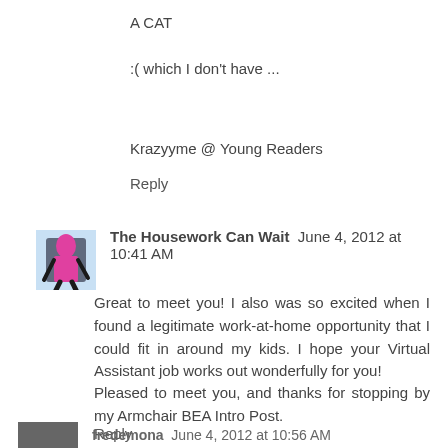A CAT
:( which I don't have ...
Krazyyme @ Young Readers
Reply
The Housework Can Wait   June 4, 2012 at 10:41 AM
Great to meet you! I also was so excited when I found a legitimate work-at-home opportunity that I could fit in around my kids. I hope your Virtual Assistant job works out wonderfully for you!
Pleased to meet you, and thanks for stopping by my Armchair BEA Intro Post.
Reply
fredemona   June 4, 2012 at 10:56 AM